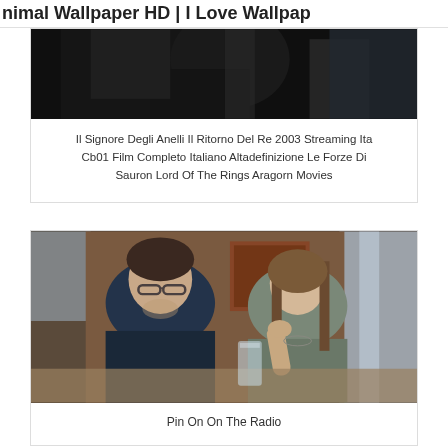Animal Wallpaper HD | I Love Wallpap
[Figure (photo): Cropped dark photo showing figures in dark clothing, partially visible at top]
Il Signore Degli Anelli Il Ritorno Del Re 2003 Streaming Ita Cb01 Film Completo Italiano Altadefinizione Le Forze Di Sauron Lord Of The Rings Aragorn Movies
[Figure (photo): Two people sitting at a diner/restaurant table. A middle-aged man with glasses and a beard on the left wearing a dark jacket, and a woman with long brown hair on the right wearing a grey top, resting her chin on her hand. A glass of water is on the table.]
Pin On On The Radio